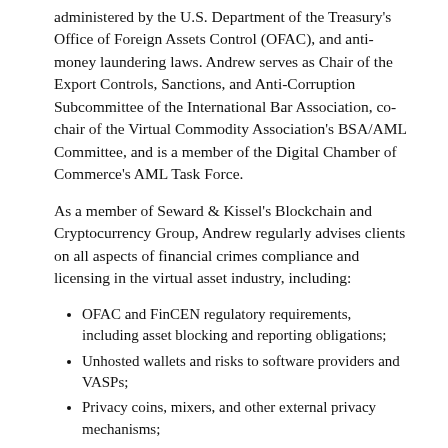administered by the U.S. Department of the Treasury's Office of Foreign Assets Control (OFAC), and anti-money laundering laws. Andrew serves as Chair of the Export Controls, Sanctions, and Anti-Corruption Subcommittee of the International Bar Association, co-chair of the Virtual Commodity Association's BSA/AML Committee, and is a member of the Digital Chamber of Commerce's AML Task Force.
As a member of Seward & Kissel's Blockchain and Cryptocurrency Group, Andrew regularly advises clients on all aspects of financial crimes compliance and licensing in the virtual asset industry, including:
OFAC and FinCEN regulatory requirements, including asset blocking and reporting obligations;
Unhosted wallets and risks to software providers and VASPs;
Privacy coins, mixers, and other external privacy mechanisms;
Technology and open-source user platforms;
Ransomware and other cyberattack-related ransom payments;